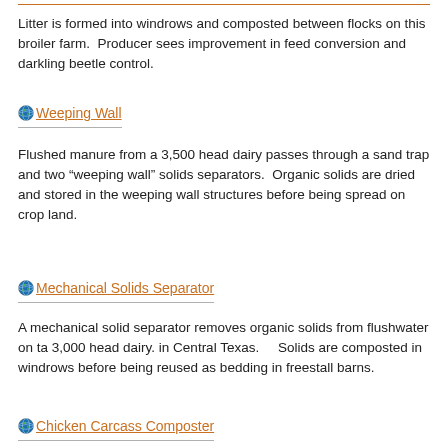Litter is formed into windrows and composted between flocks on this broiler farm.  Producer sees improvement in feed conversion and darkling beetle control.
Weeping Wall
Flushed manure from a 3,500 head dairy passes through a sand trap and two “weeping wall” solids separators.  Organic solids are dried and stored in the weeping wall structures before being spread on crop land.
Mechanical Solids Separator
A mechanical solid separator removes organic solids from flushwater on ta 3,000 head dairy. in Central Texas.    Solids are composted in windrows before being reused as bedding in freestall barns.
Chicken Carcass Composter